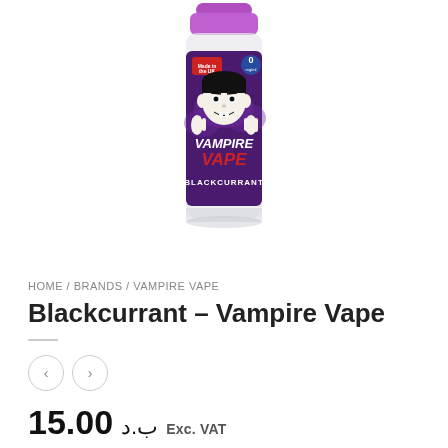[Figure (photo): Vampire Vape Blackcurrant e-liquid bottle with purple cap and dark purple label featuring a cartoon vampire character. Label reads 'VAMPIRE VAPE BLACKCURRANT' with 0mg/ml nicotine.]
HOME / BRANDS / VAMPIRE VAPE
Blackcurrant – Vampire Vape
15.00 ب.د Exc. VAT